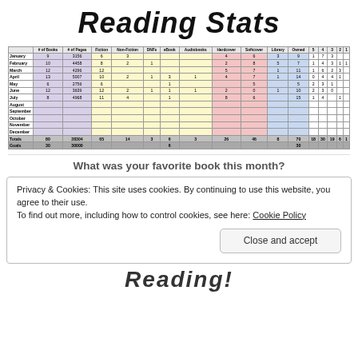Reading Stats
|  | # of Books | # of Pages | Fiction | Non-Fiction | DNFs | eBook | Audiobooks | Hardcover | Softcover | Library | Owned | 5 | 4 | 3 | 2 | 1 |
| --- | --- | --- | --- | --- | --- | --- | --- | --- | --- | --- | --- | --- | --- | --- | --- | --- |
| January | 9 | 3156 | 6 | 3 |  |  |  | 4 | 6 | 3 | 9 | 1 | 7 | 3 |  |  |
| February | 10 | 4458 | 8 | 2 | 1 |  |  | 2 | 8 | 5 | 7 | 1 | 4 | 3 | 1 | 1 |
| March | 12 | 4296 | 12 |  |  |  |  | 5 | 7 | 1 | 11 | 1 | 6 | 2 | 3 |  |
| April | 13 | 5007 | 10 | 2 | 1 | 3 | 1 | 4 | 7 | 1 | 14 | 0 | 4 | 4 | 1 |  |
| May | 6 | 2756 | 6 |  |  | 1 |  |  | 5 |  | 5 | 2 | 3 | 1 |  |  |
| June | 12 | 3639 | 12 | 2 | 1 | 1 | 1 | 2 | 0 | 1 | 10 | 2 | 3 | 0 |  |  |
| July | 8 | 4968 | 11 | 4 |  | 1 |  | 8 | 6 |  | 15 | 1 | 4 |  | 1 |  |
| August |  |  |  |  |  |  |  |  |  |  |  |  |  |  |  |  |
| September |  |  |  |  |  |  |  |  |  |  |  |  |  |  |  |  |
| October |  |  |  |  |  |  |  |  |  |  |  |  |  |  |  |  |
| November |  |  |  |  |  |  |  |  |  |  |  |  |  |  |  |  |
| December |  |  |  |  |  |  |  |  |  |  |  |  |  |  |  |  |
| Totals | 80 | 28304 | 65 | 14 | 3 | 6 | 3 | 26 | 46 | 8 | 70 | 18 | 30 | 19 | 6 | 1 |
| Goals | 30 | 30000 |  |  |  | 6 |  |  |  |  | 30 |  |  |  |  |  |  |
What was your favorite book this month?
Privacy & Cookies: This site uses cookies. By continuing to use this website, you agree to their use. To find out more, including how to control cookies, see here: Cookie Policy
Close and accept
[Figure (illustration): Partial decorative cursive text at bottom of page reading 'Reading!']